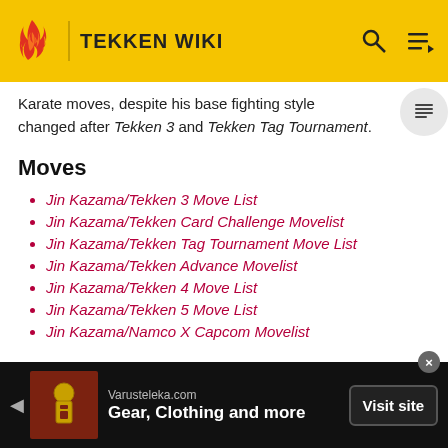TEKKEN WIKI
Karate moves, despite his base fighting style changed after Tekken 3 and Tekken Tag Tournament.
Moves
Jin Kazama/Tekken 3 Move List
Jin Kazama/Tekken Card Challenge Movelist
Jin Kazama/Tekken Tag Tournament Move List
Jin Kazama/Tekken Advance Movelist
Jin Kazama/Tekken 4 Move List
Jin Kazama/Tekken 5 Move List
Jin Kazama/Namco X Capcom Movelist